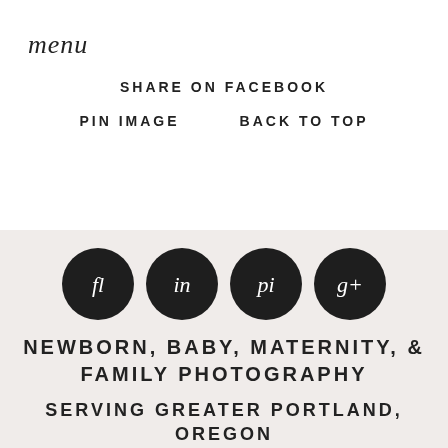menu
SHARE ON FACEBOOK
PIN IMAGE        BACK TO TOP
[Figure (logo): Four dark circular icons in a row with script lettering: fl, in, pi, g+]
NEWBORN, BABY, MATERNITY, & FAMILY PHOTOGRAPHY
SERVING GREATER PORTLAND, OREGON